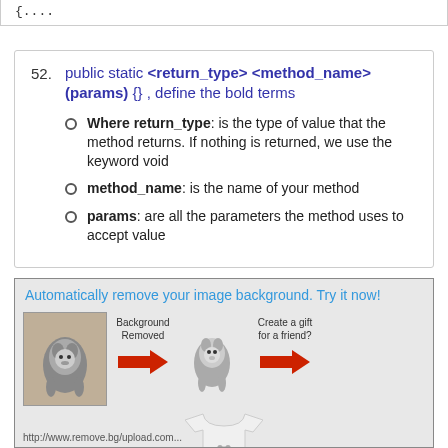{....
public static <return_type> <method_name> (params) {} , define the bold terms
Where return_type: is the type of value that the method returns. If nothing is returned, we use the keyword void
method_name: is the name of your method
params: are all the parameters the method uses to accept value
[Figure (illustration): Advertisement showing background removal service for images, featuring a dog photo with background removed and used on a t-shirt. Text: 'Automatically remove your image background. Try it now!']